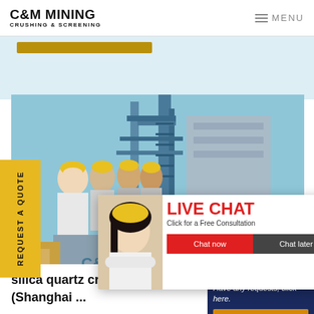C&M MINING CRUSHING & SCREENING — MENU
[Figure (screenshot): Screenshot of C&M Mining Crushing & Screening website showing a live chat popup over an industrial image of mining workers in yellow hard hats near crane equipment, with a customer service agent popup on the right side.]
silica quartz crushing machine (Shanghai ...